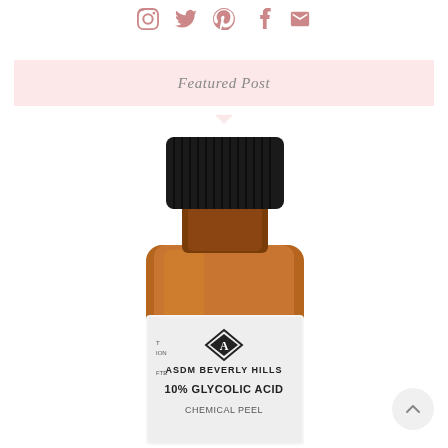Social media icons: Instagram, Twitter, Pinterest, Tumblr, Email
Featured Post
[Figure (photo): ASDM Beverly Hills 10% Glycolic Acid product bottle with black cap, amber/brown glass, and white label showing brand name and product name]